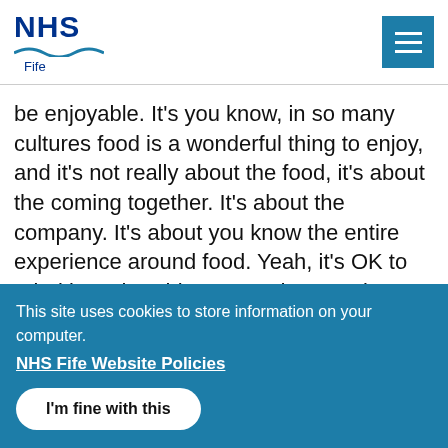[Figure (logo): NHS Fife logo with blue NHS text and wavy underline, 'Fife' text below]
be enjoyable. It's you know, in so many cultures food is a wonderful thing to enjoy, and it's not really about the food, it's about the coming together. It's about the company. It's about you know the entire experience around food. Yeah, it's OK to prioritise other things. You don't eat just to be a certain way, or shape though
This site uses cookies to store information on your computer.
NHS Fife Website Policies
I'm fine with this